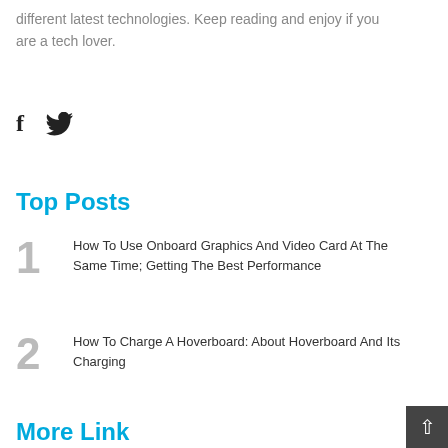different latest technologies. Keep reading and enjoy if you are a tech lover.
[Figure (other): Social media icons: Facebook (f) and Twitter (bird icon)]
Top Posts
1 How To Use Onboard Graphics And Video Card At The Same Time; Getting The Best Performance
2 How To Charge A Hoverboard: About Hoverboard And Its Charging
More Link